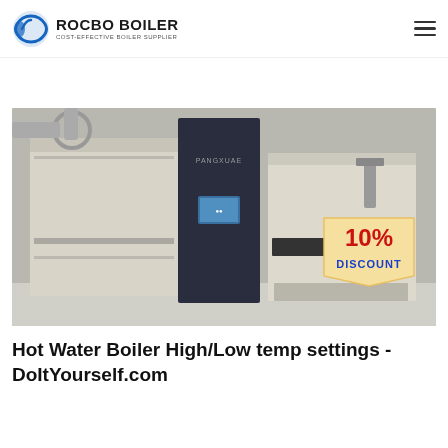ROCBO BOILER — COST-EFFECTIVE BOILER SUPPLIER
[Figure (photo): Two large industrial hot water boilers with beige/cream panel casing and dark navy control column; a '10% DISCOUNT' badge overlaid on the right boiler. The boilers are displayed in an industrial boiler room.]
Hot Water Boiler High/Low temp settings - DoItYourself.com